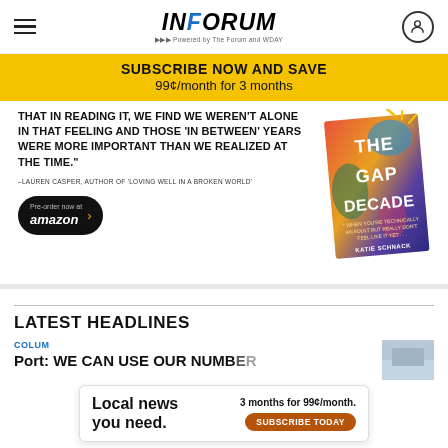INFORUM — Powered by The Forum and WDAY
[Figure (other): Yellow subscription banner: SUBSCRIBE NOW AND SAVE 99¢/month for 3 months]
THAT IN READING IT, WE FIND WE WEREN'T ALONE IN THAT FEELING AND THOSE 'IN BETWEEN' YEARS WERE MORE IMPORTANT THAN WE REALIZED AT THE TIME.
–LAUREN CASPER, AUTHOR OF 'LOVING WELL IN A BROKEN WORLD'
[Figure (illustration): Book cover of 'The Gap Decade' by Katie Schnack — When you're technically an adult but really don't feel like it yet...]
Pre-order now at amazon ›
LATEST HEADLINES
COLUMN
Port: WE CAN USE OUR NUMBER
[Figure (photo): Thumbnail photo for column article]
[Figure (infographic): Subscription overlay ad: Local news you need. 3 months for 99¢/month. SUBSCRIBE TODAY]